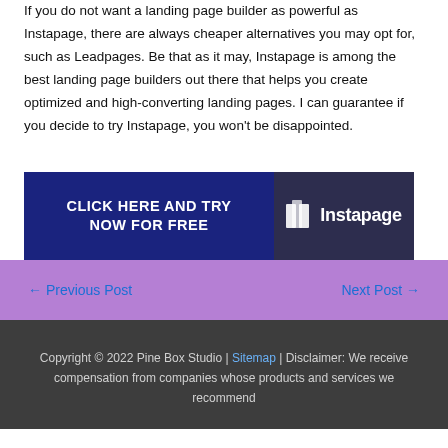If you do not want a landing page builder as powerful as Instapage, there are always cheaper alternatives you may opt for, such as Leadpages. Be that as it may, Instapage is among the best landing page builders out there that helps you create optimized and high-converting landing pages. I can guarantee if you decide to try Instapage, you won't be disappointed.
[Figure (infographic): Banner ad with dark navy left side reading 'CLICK HERE AND TRY NOW FOR FREE' in white bold uppercase text, and dark right side with Instapage logo in white]
← Previous Post    Next Post →
Copyright © 2022 Pine Box Studio | Sitemap | Disclaimer: We receive compensation from companies whose products and services we recommend